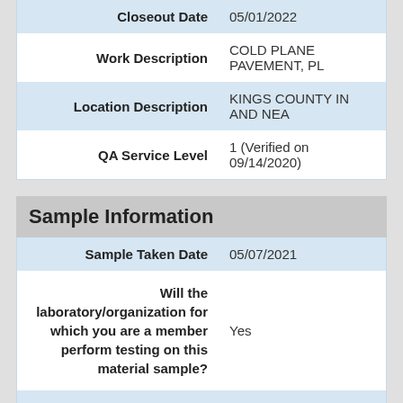| Field | Value |
| --- | --- |
| Closeout Date | 05/01/2022 |
| Work Description | COLD PLANE PAVEMENT, PL... |
| Location Description | KINGS COUNTY IN AND NEA... |
| QA Service Level | 1 (Verified on 09/14/2020) |
Sample Information
| Field | Value |
| --- | --- |
| Sample Taken Date | 05/07/2021 |
| Will the laboratory/organization for which you are a member perform testing on this material sample? | Yes |
| Sample type | Acceptance |
| The quantity of what the sample constitutes | 1 of 1 can |
| First name of sampler or | G. |